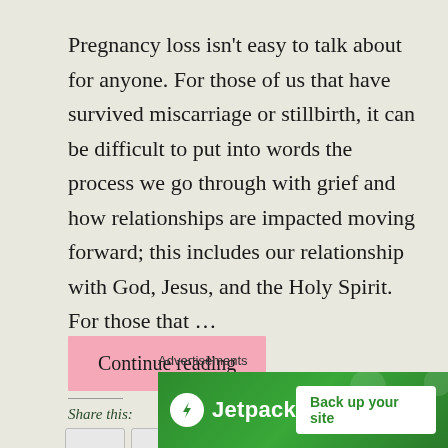Pregnancy loss isn't easy to talk about for anyone. For those of us that have survived miscarriage or stillbirth, it can be difficult to put into words the process we go through with grief and how relationships are impacted moving forward; this includes our relationship with God, Jesus, and the Holy Spirit. For those that ...
Continue reading
Share this:
[Figure (other): Social share buttons (Twitter, Facebook, Reddit, Pinterest) partially visible]
Advertisements
[Figure (other): Jetpack advertisement banner with green background showing Jetpack logo and 'Back up your site' button]